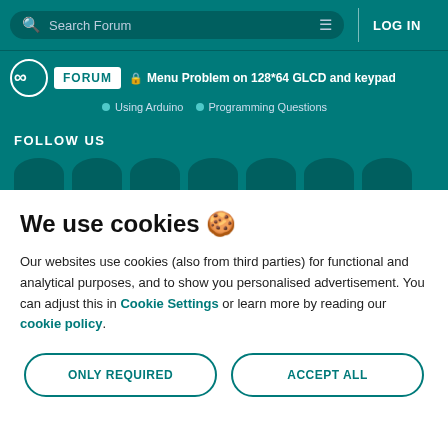Search Forum | LOG IN
Menu Problem on 128*64 GLCD and keypad | Using Arduino | Programming Questions
FOLLOW US
We use cookies 🍪
Our websites use cookies (also from third parties) for functional and analytical purposes, and to show you personalised advertisement. You can adjust this in Cookie Settings or learn more by reading our cookie policy.
ONLY REQUIRED
ACCEPT ALL